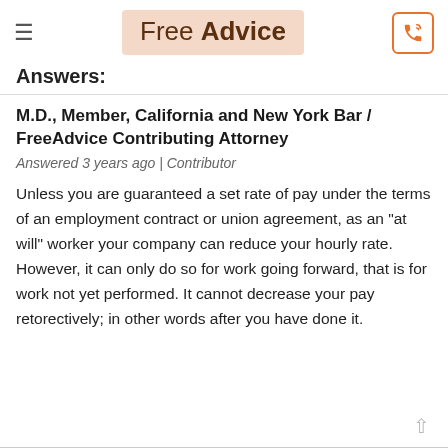Free Advice
Answers:
M.D., Member, California and New York Bar / FreeAdvice Contributing Attorney
Answered 3 years ago | Contributor
Unless you are guaranteed a set rate of pay under the terms of an employment contract or union agreement, as an "at will" worker your company can reduce your hourly rate. However, it can only do so for work going forward, that is for work not yet performed. It cannot decrease your pay retorectively; in other words after you have done it.